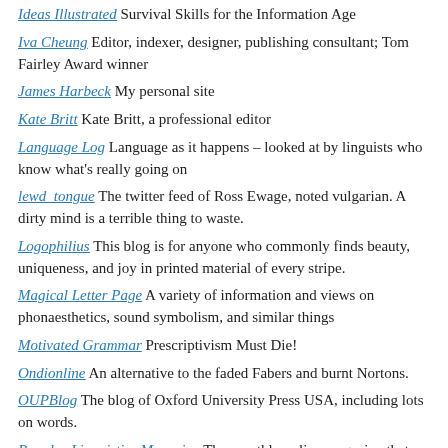Ideas Illustrated Survival Skills for the Information Age
Iva Cheung Editor, indexer, designer, publishing consultant; Tom Fairley Award winner
James Harbeck My personal site
Kate Britt Kate Britt, a professional editor
Language Log Language as it happens – looked at by linguists who know what's really going on
lewd_tongue The twitter feed of Ross Ewage, noted vulgarian. A dirty mind is a terrible thing to waste.
Logophilius This blog is for anyone who commonly finds beauty, uniqueness, and joy in printed material of every stripe.
Magical Letter Page A variety of information and views on phonaesthetics, sound symbolism, and similar things
Motivated Grammar Prescriptivism Must Die!
Ondionline An alternative to the faded Fabers and burnt Nortons.
OUPBlog The blog of Oxford University Press USA, including lots on words.
Popular Linguistics Magazine The monthly online magazine that brings language- and linguistics-focused stories and research to the masses.
Quote Investigator Exploring the origins of quotations